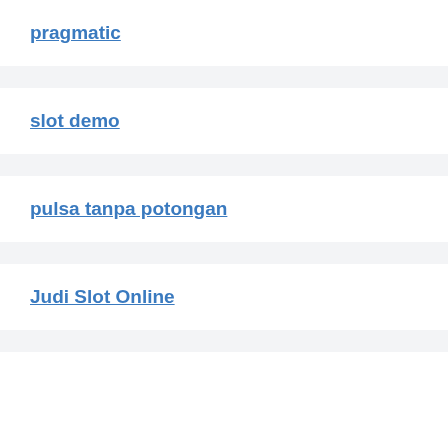pragmatic
slot demo
pulsa tanpa potongan
Judi Slot Online